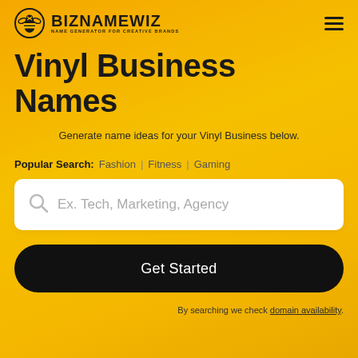BIZNAMEWIZ — NAME GENERATOR FOR CREATIVE BRANDS
Vinyl Business Names
Generate name ideas for your Vinyl Business below.
Popular Search: Fashion | Fitness | Gaming
Ex. Tech, Marketing, Agency
Get Started
By searching we check domain availability.